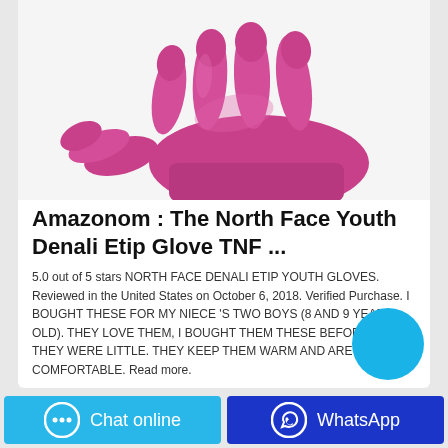[Figure (photo): A pink/magenta nitrile glove shown from the back with fingers spread, on a light grey background.]
Amazonom : The North Face Youth Denali Etip Glove TNF ...
5.0 out of 5 stars NORTH FACE DENALI ETIP YOUTH GLOVES. Reviewed in the United States on October 6, 2018. Verified Purchase. I BOUGHT THESE FOR MY NIECE 'S TWO BOYS (8 AND 9 YEARS OLD). THEY LOVE THEM, I BOUGHT THEM THESE BEFORE WHEN THEY WERE LITTLE. THEY KEEP THEM WARM AND ARE VERY COMFORTABLE. Read more.
[Figure (illustration): Cyan circular chat button overlay in bottom right area]
Chat online
WhatsApp